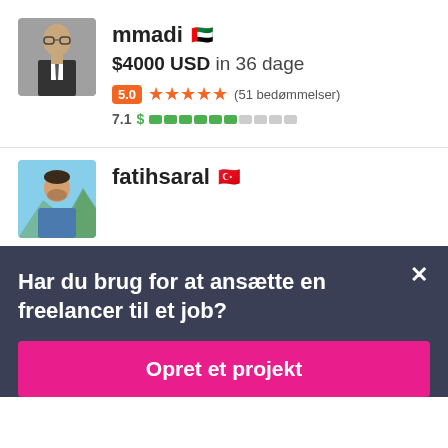[Figure (photo): Profile photo of mmadi, person wearing suit and glasses in a car]
mmadi 🇦🇪
$4000 USD in 36 dage
5.0 ★★★★★ (51 bedømmelser)
7.1 $ [completion bar]
[Figure (photo): Profile photo of fatihsaral, person outdoors with mountains in background]
fatihsaral 🇹🇷
Har du brug for at ansætte en freelancer til et job?
Opret et projekt